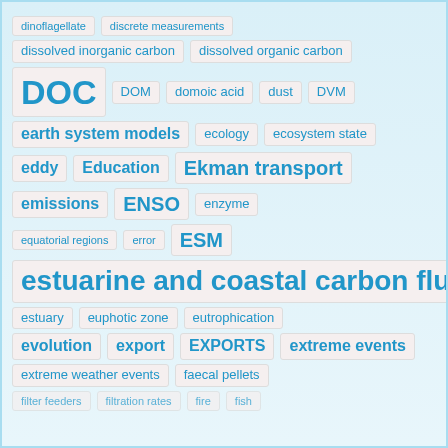dinoflagellate
discrete measurements
dissolved inorganic carbon
dissolved organic carbon
DOC
DOM
domoic acid
dust
DVM
earth system models
ecology
ecosystem state
eddy
Education
Ekman transport
emissions
ENSO
enzyme
equatorial regions
error
ESM
estuarine and coastal carbon fluxes
estuary
euphotic zone
eutrophication
evolution
export
EXPORTS
extreme events
extreme weather events
faecal pellets
filter feeders
filtration rates
fire
fish